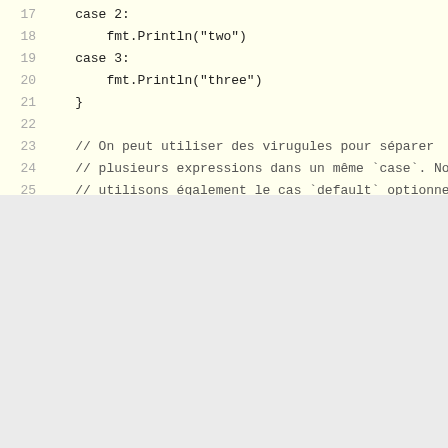[Figure (screenshot): Code editor snippet showing Go language switch statement lines 17-26, with yellow background. Lines 17-21 show case 2 and case 3 with fmt.Println calls and closing brace. Lines 23-26 show a French comment about using commas to separate expressions in the same case and the optional default case.]